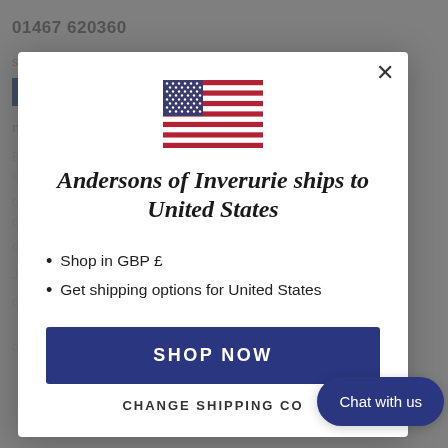01467 620360
[Figure (illustration): US flag SVG illustration centered at top of modal]
Andersons of Inverurie ships to United States
Shop in GBP £
Get shipping options for United States
SHOP NOW
CHANGE SHIPPING CO...
Chat with us